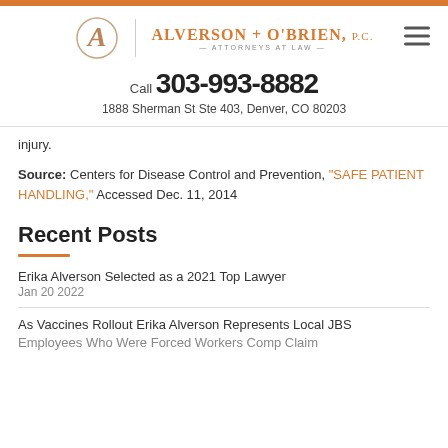[Figure (logo): Alverson + O'Brien, P.C. Attorneys at Law logo with stylized A in circle]
Call 303-993-8882
1888 Sherman St Ste 403, Denver, CO 80203
injury.
Source: Centers for Disease Control and Prevention, "SAFE PATIENT HANDLING," Accessed Dec. 11, 2014
Recent Posts
Erika Alverson Selected as a 2021 Top Lawyer
Jan 20 2022
As Vaccines Rollout Erika Alverson Represents Local JBS Employees Who Were Forced Workers Comp Claim